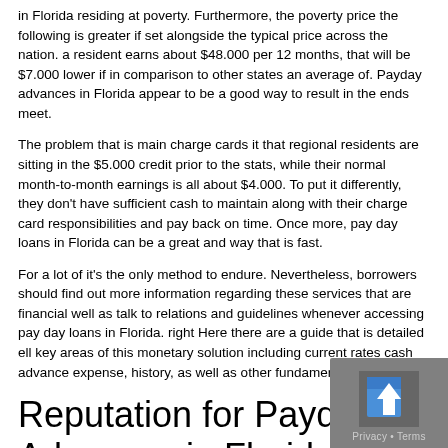in Florida residing at poverty. Furthermore, the poverty price the following is greater if set alongside the typical price across the nation. a resident earns about $48.000 per 12 months, that will be $7.000 lower if in comparison to other states an average of. Payday advances in Florida appear to be a good way to result in the ends meet.
The problem that is main charge cards it that regional residents are sitting in the $5.000 credit prior to the stats, while their normal month-to-month earnings is all about $4.000. To put it differently, they don't have sufficient cash to maintain along with their charge card responsibilities and pay back on time. Once more, pay day loans in Florida can be a great and way that is fast.
For a lot of it's the only method to endure. Nevertheless, borrowers should find out more information regarding these services that are financial well as talk to relations and guidelines whenever accessing pay day loans in Florida. right Here there are a guide that is detailed ell key areas of this monetary solution including current rates cash advance expense, history, as well as other fundamental dilemmas.
Reputation for Payday Advances in Florida
[Figure (other): Privacy badge with scroll-to-top arrow icon, showing 'Privacy • Terms' text on grey background]